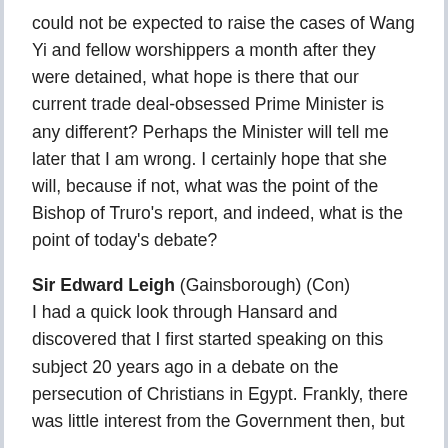could not be expected to raise the cases of Wang Yi and fellow worshippers a month after they were detained, what hope is there that our current trade deal-obsessed Prime Minister is any different? Perhaps the Minister will tell me later that I am wrong. I certainly hope that she will, because if not, what was the point of the Bishop of Truro's report, and indeed, what is the point of today's debate?
Sir Edward Leigh (Gainsborough) (Con) I had a quick look through Hansard and discovered that I first started speaking on this subject 20 years ago in a debate on the persecution of Christians in Egypt. Frankly, there was little interest from the Government then, but